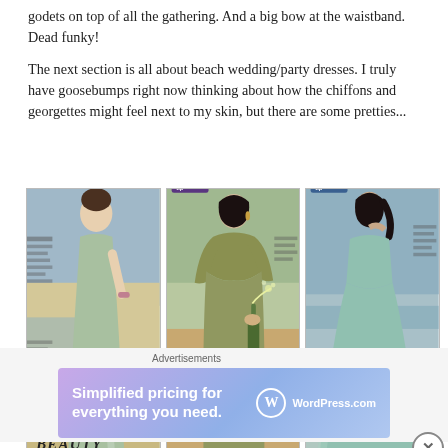godets on top of all the gathering. And a big bow at the waistband. Dead funky!
The next section is all about beach wedding/party dresses. I truly have goosebumps right now thinking about how the chiffons and georgettes might feel next to my skin, but there are some pretties...
[Figure (photo): Three fashion magazine photos side by side showing models in beach wedding/party dresses. Left image shows a model in a pale green flowing gown on a beach with text overlay reading 'BEACH BEAUTY'. Middle image shows a model in a draped olive/tan long-sleeve dress pouring champagne, with 'Extra tip' badge. Right image shows a model in a flowing mint/seafoam gown by the water, with 'Extra tip' badge.]
Advertisements
[Figure (screenshot): WordPress.com advertisement banner with lavender/blue gradient background. Text reads 'Simplified pricing for everything you need.' with WordPress.com logo on right side.]